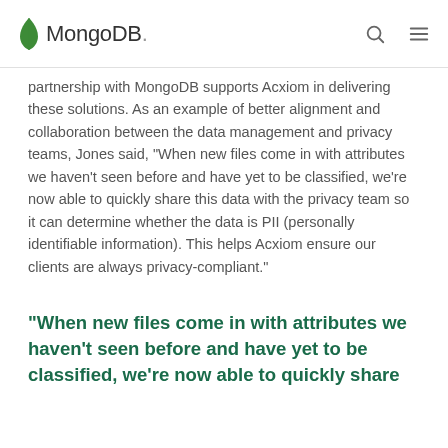MongoDB
partnership with MongoDB supports Acxiom in delivering these solutions. As an example of better alignment and collaboration between the data management and privacy teams, Jones said, “When new files come in with attributes we haven't seen before and have yet to be classified, we're now able to quickly share this data with the privacy team so it can determine whether the data is PII (personally identifiable information). This helps Acxiom ensure our clients are always privacy-compliant.”
“When new files come in with attributes we haven’t seen before and have yet to be classified, we’re now able to quickly share